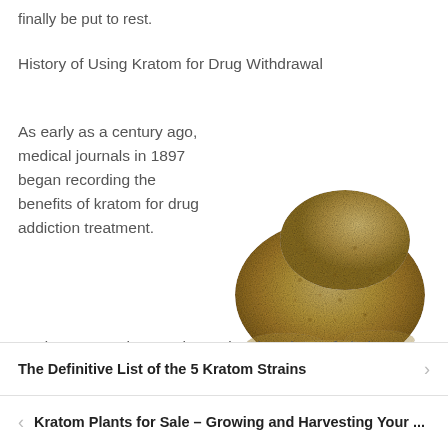finally be put to rest.
History of Using Kratom for Drug Withdrawal
As early as a century ago, medical journals in 1897 began recording the benefits of kratom for drug addiction treatment. Modern researchers at the National Institute of Thai Traditional Medicine in Bangkok have identified 7-
[Figure (photo): A pile of light brown kratom powder on a white background]
The Definitive List of the 5 Kratom Strains
Kratom Plants for Sale – Growing and Harvesting Your ...